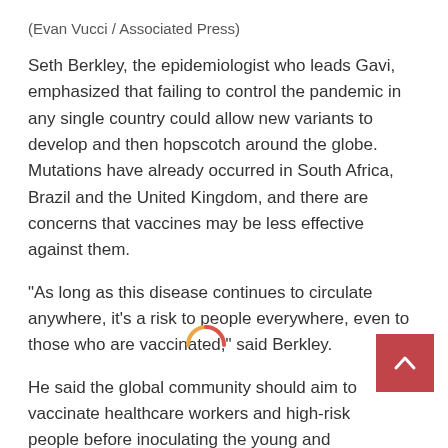(Evan Vucci / Associated Press)
Seth Berkley, the epidemiologist who leads Gavi, emphasized that failing to control the pandemic in any single country could allow new variants to develop and then hopscotch around the globe. Mutations have already occurred in South Africa, Brazil and the United Kingdom, and there are concerns that vaccines may be less effective against them.
“As long as this disease continues to circulate anywhere, it’s a risk to people everywhere, even to those who are vaccinated,” said Berkley.
He said the global community should aim to vaccinate healthcare workers and high-risk people before inoculating the young and healthy who are less like become seriously ill or die from COVID-19.
Doctors Without Borders also urged the Biden